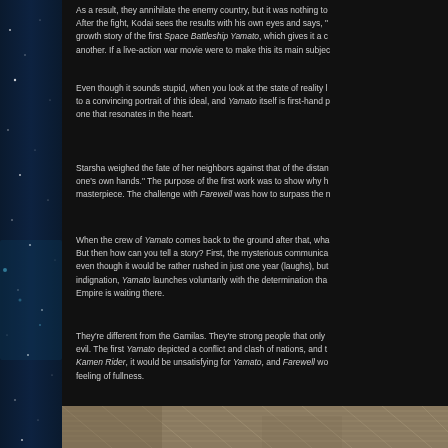As a result, they annihilate the enemy country, but it was nothing to After the fight, Kodai sees the results with his own eyes and says, " growth story of the first Space Battleship Yamato, which gives it a c another. If a live-action war movie were to make this its main subjec
Even though it sounds stupid, when you look at the state of reality l to a convincing portrait of this ideal, and Yamato itself is first-hand p one that resonates in the heart.
Starsha weighed the fate of her neighbors against that of the distan one's own hands." The purpose of the first work was to show why h masterpiece. The challenge with Farewell was how to surpass the n
When the crew of Yamato comes back to the ground after that, wha But then how can you tell a story? First, the mysterious communica even though it would be rather rushed in just one year (laughs), but indignation, Yamato launches voluntarily with the determination tha Empire is waiting there.
They're different from the Gamilas. They're strong people that only evil. The first Yamato depicted a conflict and clash of nations, and t Kamen Rider, it would be unsatisfying for Yamato, and Farewell wo feeling of fullness.
[Figure (illustration): Partial view of an illustration or artwork showing textured/sketched imagery at the bottom of the page]